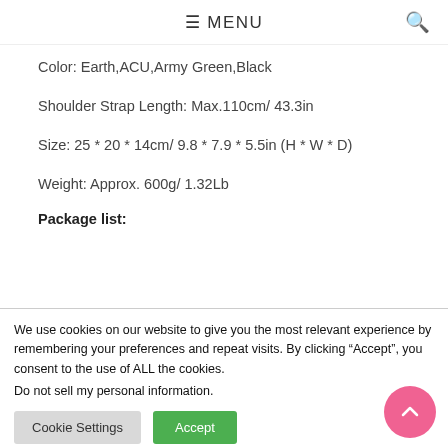≡ MENU
Color: Earth,ACU,Army Green,Black
Shoulder Strap Length: Max.110cm/ 43.3in
Size: 25 * 20 * 14cm/ 9.8 * 7.9 * 5.5in (H * W * D)
Weight: Approx. 600g/ 1.32Lb
Package list:
We use cookies on our website to give you the most relevant experience by remembering your preferences and repeat visits. By clicking “Accept”, you consent to the use of ALL the cookies.
Do not sell my personal information.